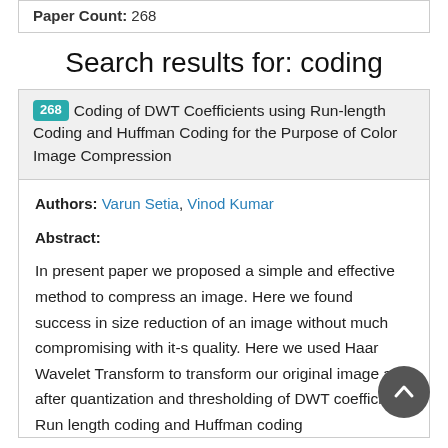Paper Count: 268
Search results for: coding
268 Coding of DWT Coefficients using Run-length Coding and Huffman Coding for the Purpose of Color Image Compression
Authors: Varun Setia, Vinod Kumar
Abstract:
In present paper we proposed a simple and effective method to compress an image. Here we found success in size reduction of an image without much compromising with it-s quality. Here we used Haar Wavelet Transform to transform our original image and after quantization and thresholding of DWT coefficients Run length coding and Huffman coding